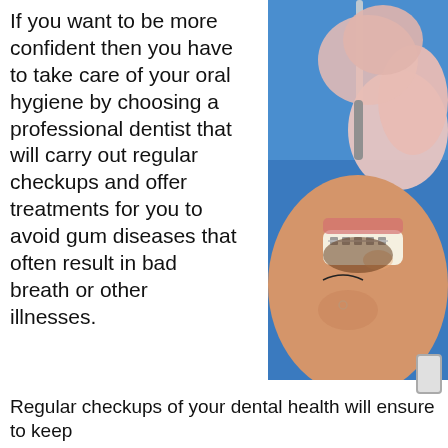If you want to be more confident then you have to take care of your oral hygiene by choosing a professional dentist that will carry out regular checkups and offer treatments for you to avoid gum diseases that often result in bad breath or other illnesses. Regular checkups of your dental health will ensure to keep
[Figure (photo): Close-up photo of a dentist wearing blue gloves and using a dental tool on a patient's teeth with braces. The patient's face is partially visible.]